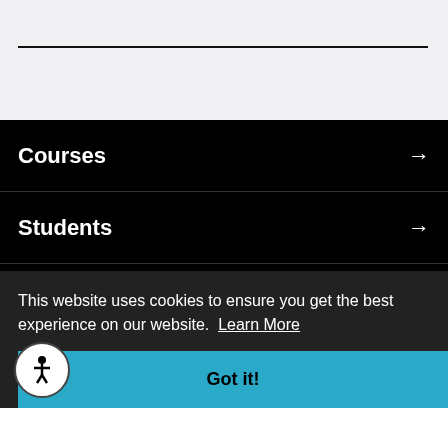[Figure (screenshot): Top gray section with a horizontal black divider line]
Courses →
Students →
Events →
News & Services →
This website uses cookies to ensure you get the best experience on our website. Learn More
Got it!
tion